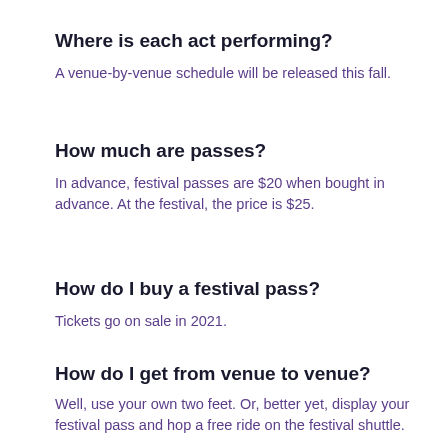Where is each act performing?
A venue-by-venue schedule will be released this fall.
How much are passes?
In advance, festival passes are $20 when bought in advance. At the festival, the price is $25.
How do I buy a festival pass?
Tickets go on sale in 2021.
How do I get from venue to venue?
Well, use your own two feet. Or, better yet, display your festival pass and hop a free ride on the festival shuttle.